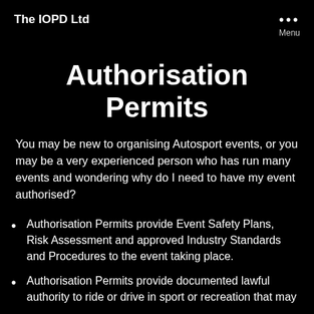The IOPD Ltd
Authorisation Permits
You may be new to organising Autosport events, or you may be a very experienced person who has run many events and wondering why do I need to have my event authorised?
Authorisation Permits provide Event Safety Plans, Risk Assessment and approved Industry Standards and Procedures to the event taking place.
Authorisation Permits provide documented lawful authority to ride or drive in sport or recreation that may